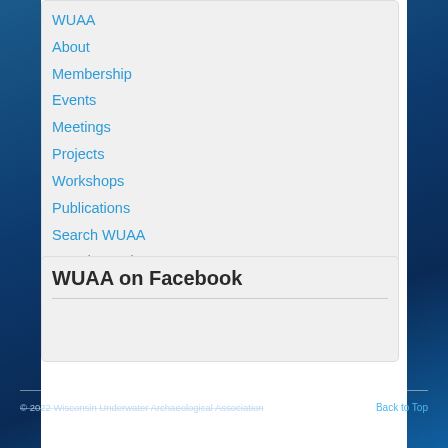WUAA
About
Membership
Events
Meetings
Projects
Workshops
Publications
Search WUAA
Brendon's Blog
NEW Store
WUAA on Facebook
© 2022 Wisconsin Underwater Archaeological Association    Back to Top